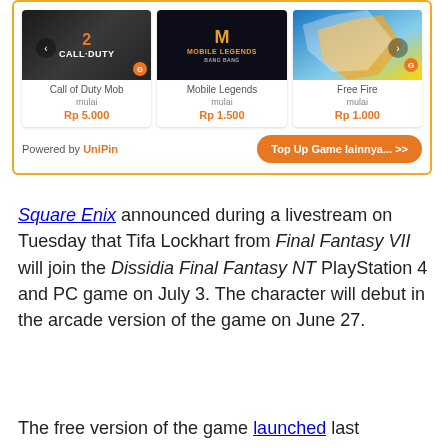[Figure (screenshot): Game top-up widget showing three game cards: Call of Duty Mobile (Rp 5.000), Mobile Legends (Rp 1.500), Free Fire (Rp 1.000), powered by UniPin with a 'Top Up Game lainnya... >>' button]
Square Enix announced during a livestream on Tuesday that Tifa Lockhart from Final Fantasy VII will join the Dissidia Final Fantasy NT PlayStation 4 and PC game on July 3. The character will debut in the arcade version of the game on June 27.
The free version of the game launched last